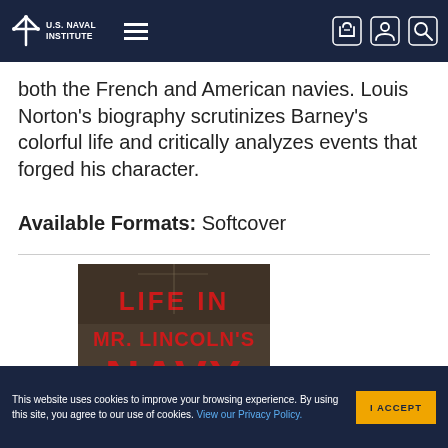U.S. Naval Institute
both the French and American navies. Louis Norton's biography scrutinizes Barney's colorful life and critically analyzes events that forged his character.
Available Formats: Softcover
[Figure (photo): Book cover: Life in Mr. Lincoln's Navy — red bold text on a sepia/dark background with historical naval imagery]
This website uses cookies to improve your browsing experience. By using this site, you agree to our use of cookies. View our Privacy Policy.